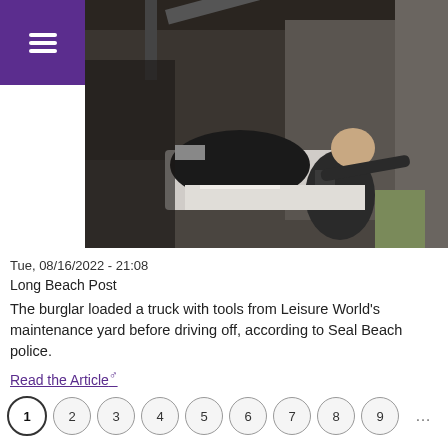Menu (hamburger icon)
[Figure (photo): Security camera footage showing a man in a dark shirt loading items from what appears to be a maintenance yard or garage, with equipment visible in the background.]
Tue, 08/16/2022 - 21:08
Long Beach Post
The burglar loaded a truck with tools from Leisure World's maintenance yard before driving off, according to Seal Beach police.
Read the Article
1 2 3 4 5 6 7 8 9 ...